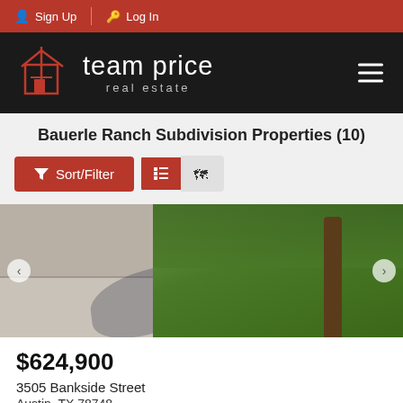Sign Up  Log In
[Figure (logo): Team Price Real Estate logo — house icon with cross/key motif in red outline on black background, with text 'team price real estate' in white]
Bauerle Ranch Subdivision Properties (10)
[Figure (other): Sort/Filter button (red) with funnel icon, plus list/map toggle view buttons]
[Figure (photo): Exterior photo of residential property showing concrete driveway, garage, green lawn and large tree]
$624,900
3505 Bankside Street
Austin, TX 78748